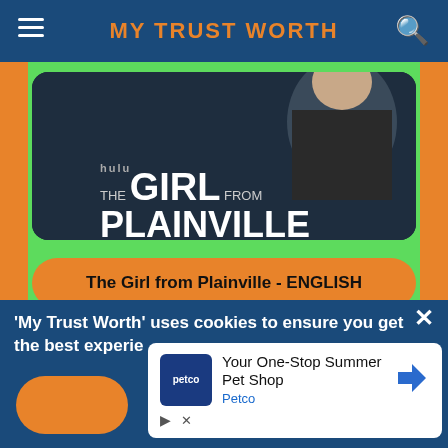MY TRUST WORTH
[Figure (screenshot): The Girl from Plainville TV show promotional image with two people]
The Girl from Plainville - ENGLISH
[Figure (screenshot): Three actors from a TV show looking serious]
Scroll: 16%
'My Trust Worth' uses cookies to ensure you get the best experience
[Figure (infographic): Petco advertisement: Your One-Stop Summer Pet Shop]